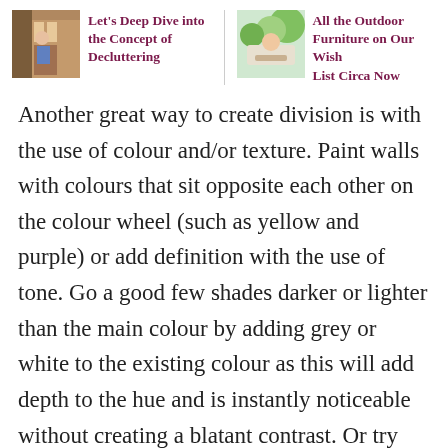[Figure (photo): Small photo of a person in a room, related to decluttering]
Let's Deep Dive into the Concept of Decluttering
[Figure (photo): Small photo of outdoor furniture or a person relaxing outdoors]
All the Outdoor Furniture on Our Wish List Circa Now
Another great way to create division is with the use of colour and/or texture. Paint walls with colours that sit opposite each other on the colour wheel (such as yellow and purple) or add definition with the use of tone. Go a good few shades darker or lighter than the main colour by adding grey or white to the existing colour as this will add depth to the hue and is instantly noticeable without creating a blatant contrast. Or try adding a bright colour to a wall that adjoins a neutrally painted wall. This